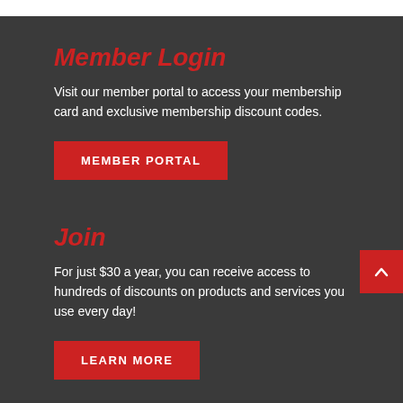Member Login
Visit our member portal to access your membership card and exclusive membership discount codes.
MEMBER PORTAL
Join
For just $30 a year, you can receive access to hundreds of discounts on products and services you use every day!
LEARN MORE